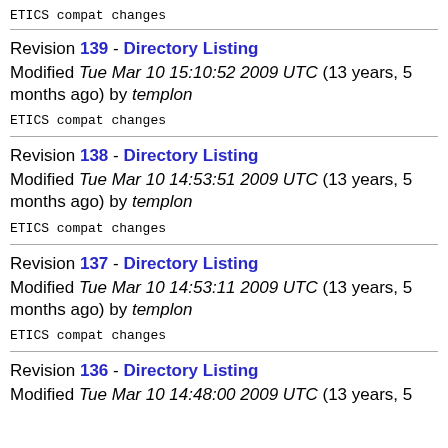ETICS compat changes
Revision 139 - Directory Listing
Modified Tue Mar 10 15:10:52 2009 UTC (13 years, 5 months ago) by templon
ETICS compat changes
Revision 138 - Directory Listing
Modified Tue Mar 10 14:53:51 2009 UTC (13 years, 5 months ago) by templon
ETICS compat changes
Revision 137 - Directory Listing
Modified Tue Mar 10 14:53:11 2009 UTC (13 years, 5 months ago) by templon
ETICS compat changes
Revision 136 - Directory Listing
Modified Tue Mar 10 14:48:00 2009 UTC (13 years, 5